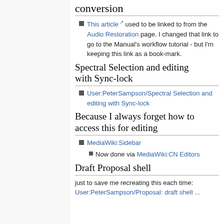conversion
This article used to be linked to from the Audio Restoration page. I changed that link to go to the Manual's workflow tutorial - but I'm keeping this link as a book-mark.
Spectral Selection and editing with Sync-lock
User:PeterSampson/Spectral Selection and editing with Sync-lock
Because I always forget how to access this for editing
MediaWiki:Sidebar
Now done via MediaWiki:CN Editors
Draft Proposal shell
just to save me recreating this each time: User:PeterSampson/Proposal: draft shell ...